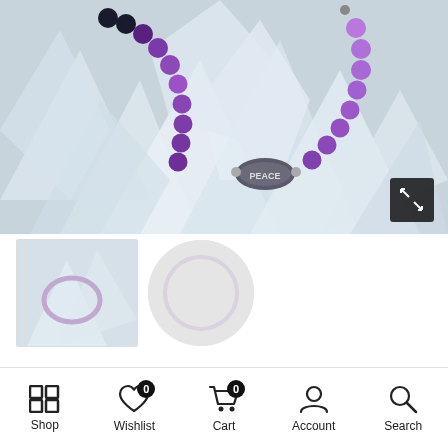[Figure (photo): Amethyst and dark bead stretch bracelet with 'PEACE' oval charm, displayed on white crystal/quartz rocks background]
[Figure (photo): Small thumbnail of a pale/light-colored stretch bracelet on white background]
[Figure (photo): Second thumbnail showing a blurred circular shape on light background]
Amethyst Stretch Bracelet with
Shop   Wishlist   Cart   Account   Search